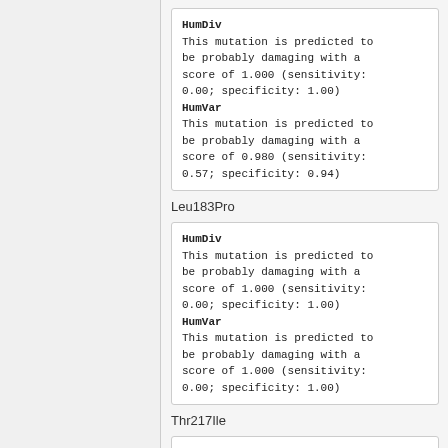HumDiv
This mutation is predicted to be probably damaging with a score of 1.000 (sensitivity: 0.00; specificity: 1.00)
HumVar
This mutation is predicted to be probably damaging with a score of 0.980 (sensitivity: 0.57; specificity: 0.94)
Leu183Pro
HumDiv
This mutation is predicted to be probably damaging with a score of 1.000 (sensitivity: 0.00; specificity: 1.00)
HumVar
This mutation is predicted to be probably damaging with a score of 1.000 (sensitivity: 0.00; specificity: 1.00)
Thr217Ile
HumDiv